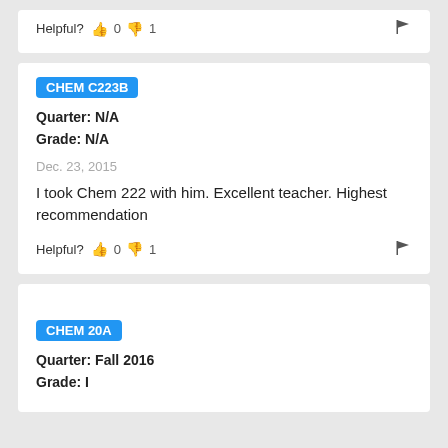Helpful? 👍 0 👎 1
CHEM C223B
Quarter: N/A
Grade: N/A
Dec. 23, 2015
I took Chem 222 with him. Excellent teacher. Highest recommendation
Helpful? 👍 0 👎 1
CHEM 20A
Quarter: Fall 2016
Grade: I